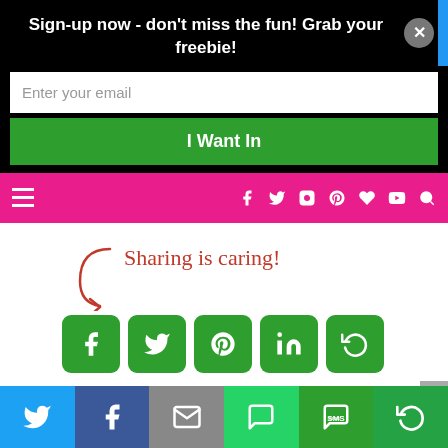Sign-up now - don't miss the fun! Grab your freebie!
[Figure (screenshot): Email signup form with text input field labeled 'Enter your email' and a green 'I Want In' button]
[Figure (screenshot): Pink navigation bar with hamburger menu, social media icons (Facebook, Twitter, Instagram, Pinterest, heart, YouTube) and search icon]
[Figure (infographic): Sharing is caring! text with red arrow pointing down to green social share buttons: Facebook, Twitter, Pinterest, LinkedIn, and a share icon]
2 Comments
[Figure (screenshot): Bottom social sharing bar with Twitter (blue), Facebook (dark blue), Email (gray), WhatsApp (green), SMS (green), and share (green) buttons]